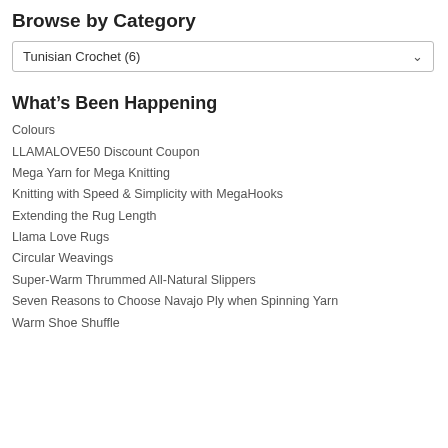Browse by Category
Tunisian Crochet  (6)
What's Been Happening
Colours
LLAMALOVE50 Discount Coupon
Mega Yarn for Mega Knitting
Knitting with Speed & Simplicity with MegaHooks
Extending the Rug Length
Llama Love Rugs
Circular Weavings
Super-Warm Thrummed All-Natural Slippers
Seven Reasons to Choose Navajo Ply when Spinning Yarn
Warm Shoe Shuffle